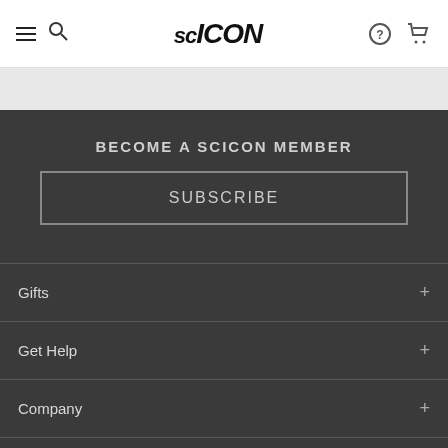SC ICON — navigation header with hamburger menu, search, logo, help, and cart icons
BECOME A SCICON MEMBER
SUBSCRIBE
Gifts
Get Help
Company
Legal
Payment methods